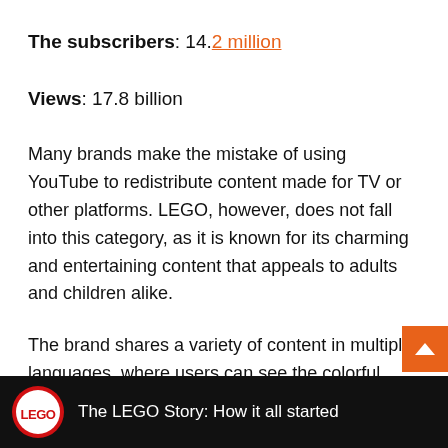The subscribers: 14.2 million
Views: 17.8 billion
Many brands make the mistake of using YouTube to redistribute content made for TV or other platforms. LEGO, however, does not fall into this category, as it is known for its charming and entertaining content that appeals to adults and children alike.
The brand shares a variety of content in multiple languages, where users can see the colorful bricks and figures come to life.
[Figure (screenshot): Bottom bar showing LEGO YouTube video thumbnail with LEGO logo and title 'The LEGO Story: How it all started']